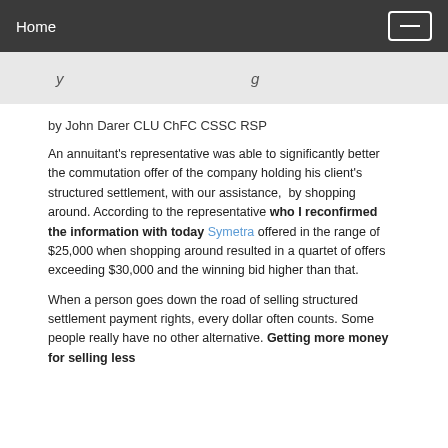Home
by John Darer CLU ChFC CSSC RSP
An annuitant's representative was able to significantly better the commutation offer of the company holding his client's structured settlement, with our assistance,  by shopping around. According to the representative who I reconfirmed the information with today Symetra offered in the range of $25,000 when shopping around resulted in a quartet of offers exceeding $30,000 and the winning bid higher than that.
When a person goes down the road of selling structured settlement payment rights, every dollar often counts. Some people really have no other alternative. Getting more money for selling less